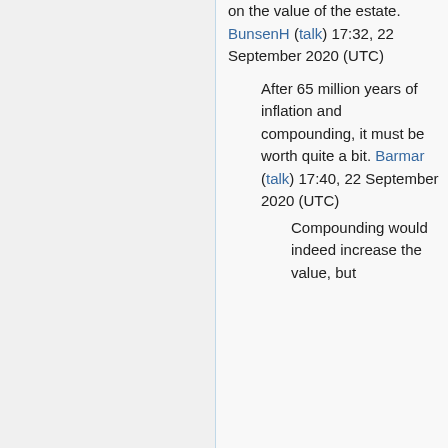That would depend on the value of the estate. BunsenH (talk) 17:32, 22 September 2020 (UTC)
After 65 million years of inflation and compounding, it must be worth quite a bit. Barmar (talk) 17:40, 22 September 2020 (UTC)
Compounding would indeed increase the value, but